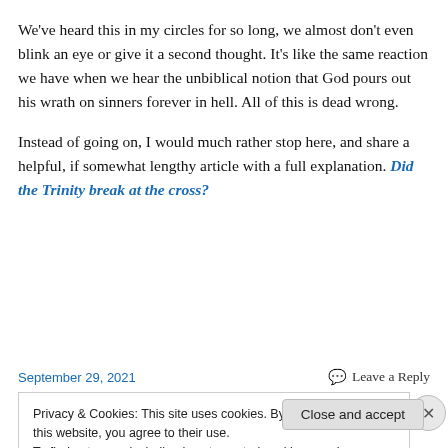We've heard this in my circles for so long, we almost don't even blink an eye or give it a second thought. It's like the same reaction we have when we hear the unbiblical notion that God pours out his wrath on sinners forever in hell. All of this is dead wrong.
Instead of going on, I would much rather stop here, and share a helpful, if somewhat lengthy article with a full explanation. Did the Trinity break at the cross?
September 29, 2021
Leave a Reply
Privacy & Cookies: This site uses cookies. By continuing to use this website, you agree to their use.
To find out more, including how to control cookies, see here: Cookie Policy